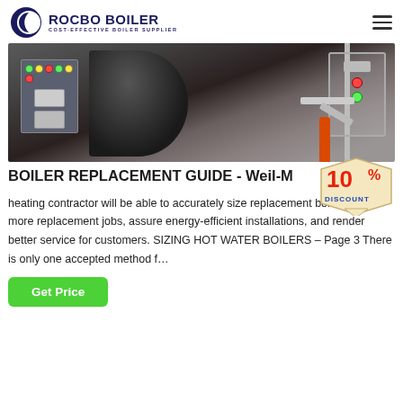[Figure (logo): Rocbo Boiler logo with crescent circle icon and text 'ROCBO BOILER / COST-EFFECTIVE BOILER SUPPLIER']
[Figure (photo): Industrial boiler room photo showing a dark boiler unit, control panel with colored indicator lights, and pipe assemblies]
BOILER REPLACEMENT GUIDE - Weil-M  10% DISCOUNT
heating contractor will be able to accurately size replacement boilers, sell more replacement jobs, assure energy-efficient installations, and render better service for customers. SIZING HOT WATER BOILERS – Page 3 There is only one accepted method f…
Get Price